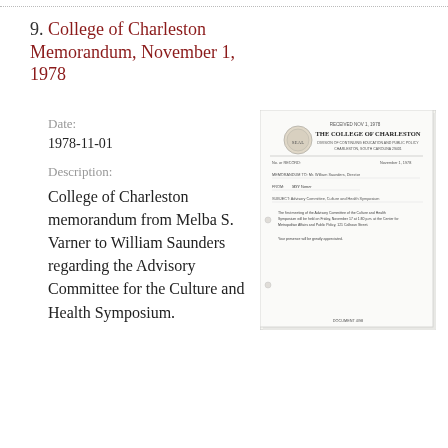9. College of Charleston Memorandum, November 1, 1978
Date:
1978-11-01
Description:
College of Charleston memorandum from Melba S. Varner to William Saunders regarding the Advisory Committee for the Culture and Health Symposium.
[Figure (photo): Scanned image of a College of Charleston memorandum on official letterhead, dated November 1, 1978, from Melba S. Varner to William Saunders regarding the Advisory Committee for the Culture and Health Symposium.]